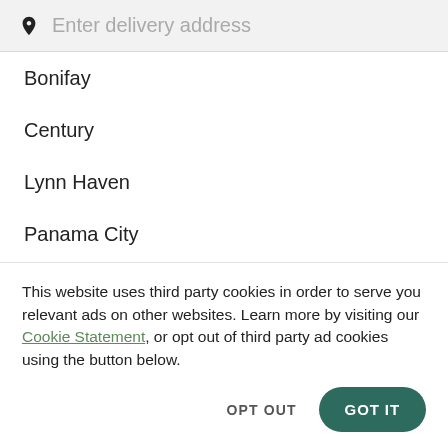[Figure (screenshot): Search bar with location pin icon and placeholder text 'Enter delivery address']
Bonifay
Century
Lynn Haven
Panama City
Chipley
This website uses third party cookies in order to serve you relevant ads on other websites. Learn more by visiting our Cookie Statement, or opt out of third party ad cookies using the button below.
OPT OUT
GOT IT